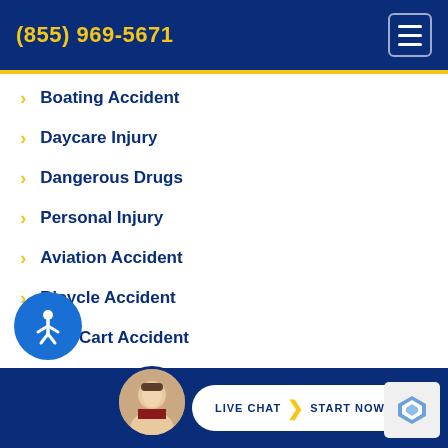(855) 969-5671
Boating Accident
Daycare Injury
Dangerous Drugs
Personal Injury
Aviation Accident
Bicycle Accident
Golf Cart Accident
Construction Site Accident